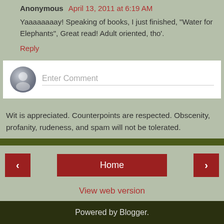Anonymous April 13, 2011 at 6:19 AM
Yaaaaaaaay! Speaking of books, I just finished, "Water for Elephants", Great read! Adult oriented, tho'.
Reply
Enter Comment
Wit is appreciated. Counterpoints are respected. Obscenity, profanity, rudeness, and spam will not be tolerated.
Home
View web version
Powered by Blogger.